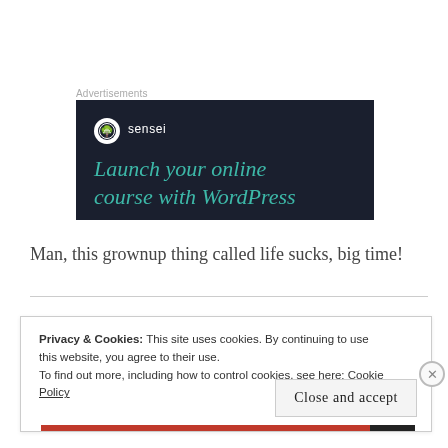[Figure (screenshot): Advertisement banner with dark navy background showing Sensei logo (tree icon in white circle) and teal italic text reading 'Launch your online course with WordPress' (partially visible)]
Man, this grownup thing called life sucks, big time!
Privacy & Cookies: This site uses cookies. By continuing to use this website, you agree to their use.
To find out more, including how to control cookies, see here: Cookie Policy
Close and accept